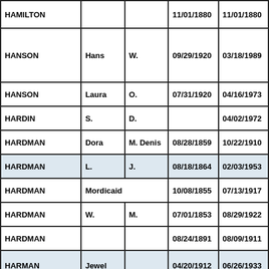| Last Name | First Name | Middle Name | Birth Date | Death Date |
| --- | --- | --- | --- | --- |
| HAMILTON |  |  | 11/01/1880 | 11/01/1880 |
| HANSON | Hans | W. | 09/29/1920 | 03/18/1989 |
| HANSON | Laura | O. | 07/31/1920 | 04/16/1973 |
| HARDIN | S. | D. |  | 04/02/1972 |
| HARDMAN | Dora | M. Denis | 08/28/1859 | 10/22/1910 |
| HARDMAN | L. | J. | 08/18/1864 | 02/03/1953 |
| HARDMAN | Mordicaid |  | 10/08/1855 | 07/13/1917 |
| HARDMAN | W. | M. | 07/01/1853 | 08/29/1922 |
| HARDMAN |  |  | 08/24/1891 | 08/09/1911 |
| HARMAN | Jewel |  | 04/20/1912 | 06/26/1933 |
| HARMAN | Laura Lee |  | 05/05/1871 | 02/22/1949 |
| HARMAN | William | N. | 06/14/1871 | 01/25/1957 |
| HAY | William | H. | 05/28/1879 | 03/08/1964 |
| HENDERSON | Aaron | Earl | 08/24/1916 | 08/17/1997 |
| HENDERSON | D... |  | 08/18/1958 | 10/07/1988 |